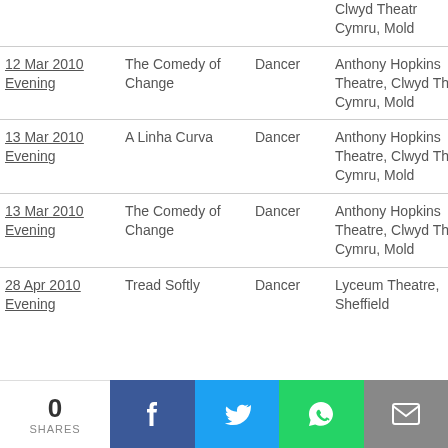| Date | Show | Role | Venue |
| --- | --- | --- | --- |
| 12 Mar 2010 Evening | The Comedy of Change | Dancer | Anthony Hopkins Theatre, Clwyd Theatr Cymru, Mold |
| 13 Mar 2010 Evening | A Linha Curva | Dancer | Anthony Hopkins Theatre, Clwyd Theatr Cymru, Mold |
| 13 Mar 2010 Evening | The Comedy of Change | Dancer | Anthony Hopkins Theatre, Clwyd Theatr Cymru, Mold |
| 28 Apr 2010 Evening | Tread Softly | Dancer | Lyceum Theatre, Sheffield |